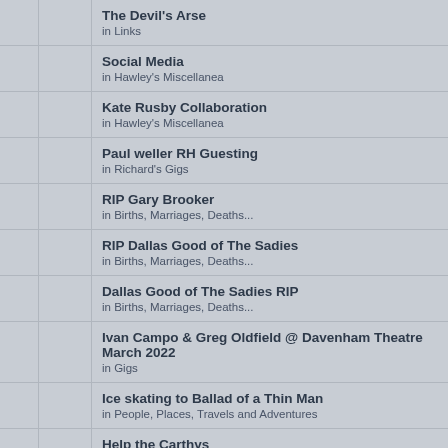The Devil's Arse
in Links
Social Media
in Hawley's Miscellanea
Kate Rusby Collaboration
in Hawley's Miscellanea
Paul weller RH Guesting
in Richard's Gigs
RIP Gary Brooker
in Births, Marriages, Deaths...
RIP Dallas Good of The Sadies
in Births, Marriages, Deaths...
Dallas Good of The Sadies RIP
in Births, Marriages, Deaths...
Ivan Campo & Greg Oldfield @ Davenham Theatre March 2022
in Gigs
Ice skating to Ballad of a Thin Man
in People, Places, Travels and Adventures
Help the Carthys
in People, Places, Travels and Adventures